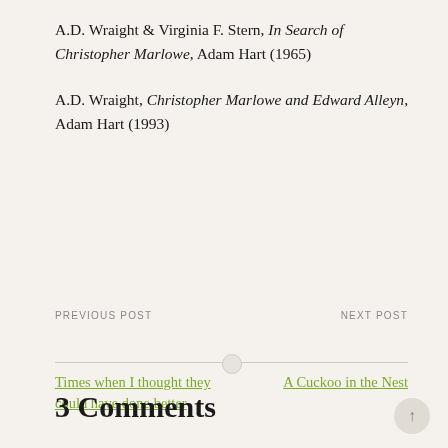A.D. Wraight & Virginia F. Stern, In Search of Christopher Marlowe, Adam Hart (1965)
A.D. Wraight, Christopher Marlowe and Edward Alleyn, Adam Hart (1993)
PREVIOUS POST
NEXT POST
Times when I thought they could have done better
A Cuckoo in the Nest
3 Comments